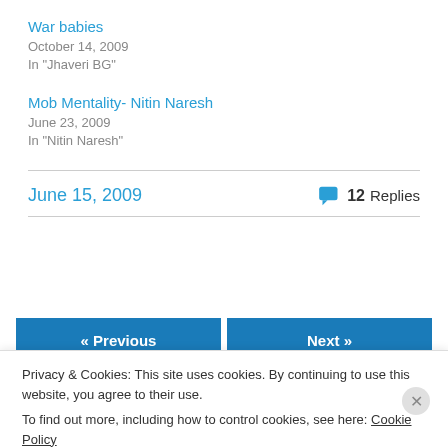War babies
October 14, 2009
In "Jhaveri BG"
Mob Mentality- Nitin Naresh
June 23, 2009
In "Nitin Naresh"
June 15, 2009
💬 12 Replies
« Previous
Next »
Privacy & Cookies: This site uses cookies. By continuing to use this website, you agree to their use.
To find out more, including how to control cookies, see here: Cookie Policy
Close and accept